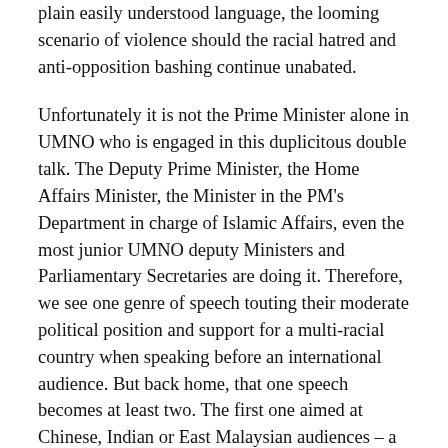plain easily understood language, the looming scenario of violence should the racial hatred and anti-opposition bashing continue unabated.
Unfortunately it is not the Prime Minister alone in UMNO who is engaged in this duplicitous double talk. The Deputy Prime Minister, the Home Affairs Minister, the Minister in the PM's Department in charge of Islamic Affairs, even the most junior UMNO deputy Ministers and Parliamentary Secretaries are doing it. Therefore, we see one genre of speech touting their moderate political position and support for a multi-racial country when speaking before an international audience. But back home, that one speech becomes at least two. The first one aimed at Chinese, Indian or East Malaysian audiences – a moderate one. The second – a hard line and racially or religiously jingoistic and nationalist or ultra-nationalist speech blaming the Chinese and DAP opposition party for any and all issues and problems in the country; and urging Malays to defend